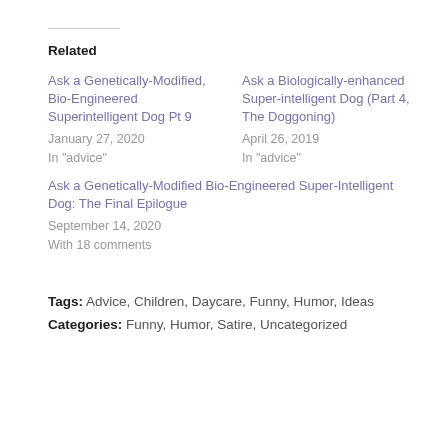Related
Ask a Genetically-Modified, Bio-Engineered Superintelligent Dog Pt 9
January 27, 2020
In "advice"
Ask a Biologically-enhanced Super-intelligent Dog (Part 4, The Doggoning)
April 26, 2019
In "advice"
Ask a Genetically-Modified Bio-Engineered Super-Intelligent Dog: The Final Epilogue
September 14, 2020
With 18 comments
Tags: Advice, Children, Daycare, Funny, Humor, Ideas
Categories: Funny, Humor, Satire, Uncategorized